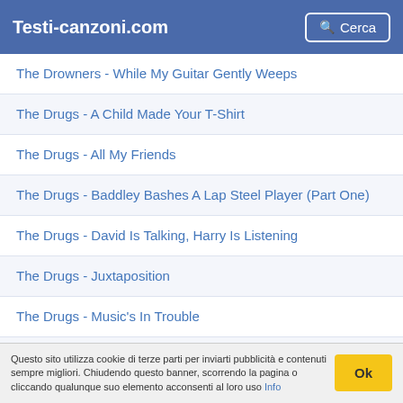Testi-canzoni.com | Cerca
The Drowners - While My Guitar Gently Weeps
The Drugs - A Child Made Your T-Shirt
The Drugs - All My Friends
The Drugs - Baddley Bashes A Lap Steel Player (Part One)
The Drugs - David Is Talking, Harry Is Listening
The Drugs - Juxtaposition
The Drugs - Music's In Trouble
The Drugs - No Sense
The Drugs - Prole
Questo sito utilizza cookie di terze parti per inviarti pubblicità e contenuti sempre migliori. Chiudendo questo banner, scorrendo la pagina o cliccando qualunque suo elemento acconsenti al loro uso Info